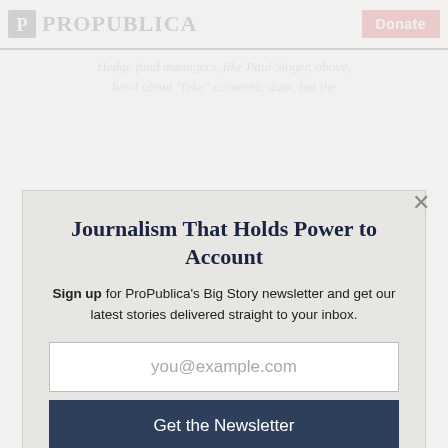ProPublica | Donate
Hedge fund managers, like Paul Singer, above, howl about "fake" economic data, but the
Journalism That Holds Power to Account
Sign up for ProPublica's Big Story newsletter and get our latest stories delivered straight to your inbox.
you@example.com
Get the Newsletter
No thanks, I'm all set
This site is protected by reCAPTCHA and the Google Privacy Policy and Terms of Service apply.